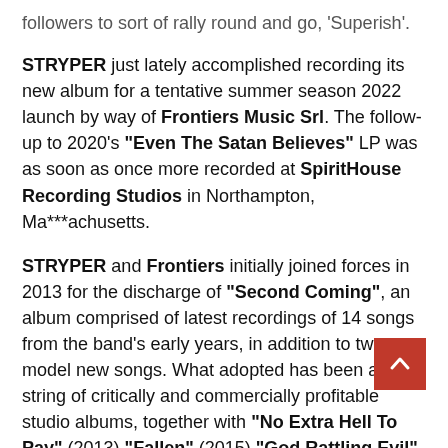followers to sort of rally round and go, 'Superish'.
STRYPER just lately accomplished recording its new album for a tentative summer season 2022 launch by way of Frontiers Music Srl. The follow-up to 2020's "Even The Satan Believes" LP was as soon as once more recorded at SpiritHouse Recording Studios in Northampton, Ma***achusetts.
STRYPER and Frontiers initially joined forces in 2013 for the discharge of "Second Coming", an album comprised of latest recordings of 14 songs from the band's early years, in addition to two model new songs. What adopted has been a string of critically and commercially profitable studio albums, together with "No Extra Hell To Pay" (2013),"Fallen" (2015),"God Rattling Evil" (2018) and "Even The Satan Believes" (2020). Moreover, a dwell album and long-form video, "D At The Whisky" (2014) was made obtainable. Each one of many albums launched on Frontiers up to now 9